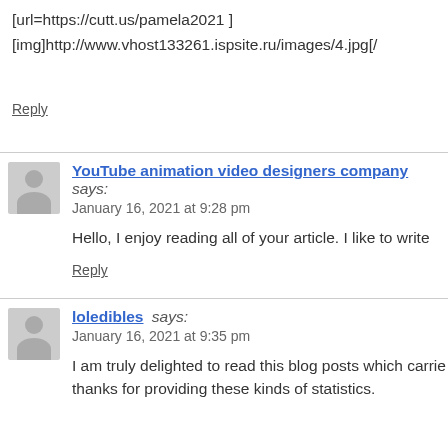[url=https://cutt.us/pamela2021 ]
[img]http://www.vhost133261.ispsite.ru/images/4.jpg[/
Reply
YouTube animation video designers company says:
January 16, 2021 at 9:28 pm
Hello, I enjoy reading all of your article. I like to write
Reply
loledibles says:
January 16, 2021 at 9:35 pm
I am truly delighted to read this blog posts which carrie thanks for providing these kinds of statistics.